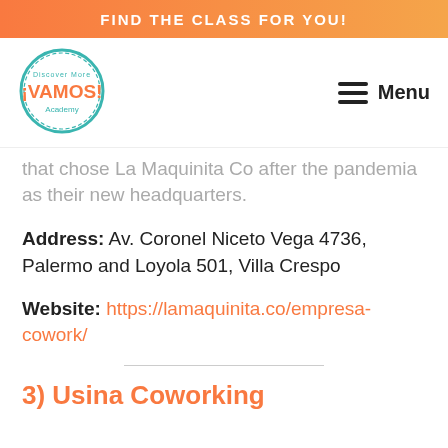FIND THE CLASS FOR YOU!
[Figure (logo): Vamos Academy circular logo with teal border]
Menu
that chose La Maquinita Co after the pandemia as their new headquarters.
Address: Av. Coronel Niceto Vega 4736, Palermo and Loyola 501, Villa Crespo
Website: https://lamaquinita.co/empresa-cowork/
3) Usina Coworking